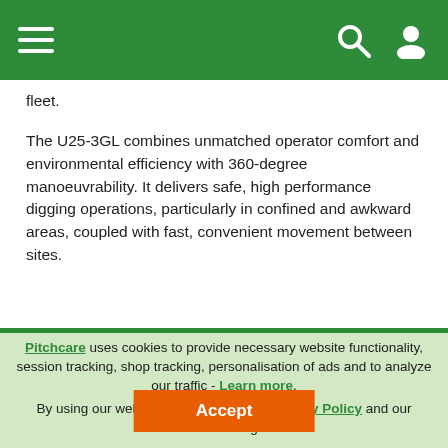Navigation bar with hamburger menu, search icon, and user icon
fleet.
The U25-3GL combines unmatched operator comfort and environmental efficiency with 360-degree manoeuvrability. It delivers safe, high performance digging operations, particularly in confined and awkward areas, coupled with fast, convenient movement between sites.
Pitchcare uses cookies to provide necessary website functionality, session tracking, shop tracking, personalisation of ads and to analyze our traffic - Learn more. By using our website, you agree to our Privacy Policy and our cookies usage.
Accept